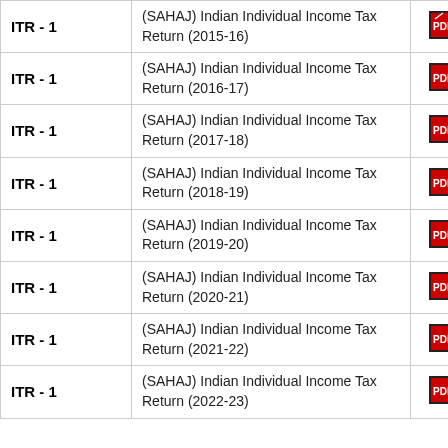| Form | Description | PDF | Word |
| --- | --- | --- | --- |
| ITR - 1 | (SAHAJ) Indian Individual Income Tax Return (2015-16) | [PDF] |  |
| ITR - 1 | (SAHAJ) Indian Individual Income Tax Return (2016-17) | [PDF] |  |
| ITR - 1 | (SAHAJ) Indian Individual Income Tax Return (2017-18) | [PDF] |  |
| ITR - 1 | (SAHAJ) Indian Individual Income Tax Return (2018-19) | [PDF] |  |
| ITR - 1 | (SAHAJ) Indian Individual Income Tax Return (2019-20) | [PDF] |  |
| ITR - 1 | (SAHAJ) Indian Individual Income Tax Return (2020-21) | [PDF] | [Word] |
| ITR - 1 | (SAHAJ) Indian Individual Income Tax Return (2021-22) | [PDF] |  |
| ITR - 1 | (SAHAJ) Indian Individual Income Tax Return (2022-23) | [PDF] |  |